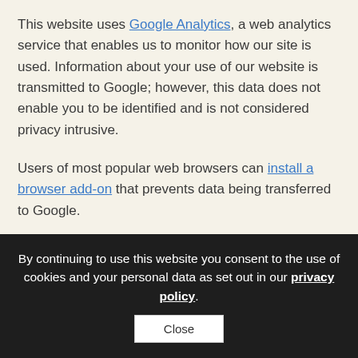This website uses Google Analytics, a web analytics service that enables us to monitor how our site is used. Information about your use of our website is transmitted to Google; however, this data does not enable you to be identified and is not considered privacy intrusive.
Users of most popular web browsers can install a browser add-on that prevents data being transferred to Google.
Comments
When you leave a comment on this website we collect the data shown in the comment form, as well as your IP address and user agent. The comment and its metadata are retained indefinitely and may be used in academic publications and
By continuing to use this website you consent to the use of cookies and your personal data as set out in our privacy policy.